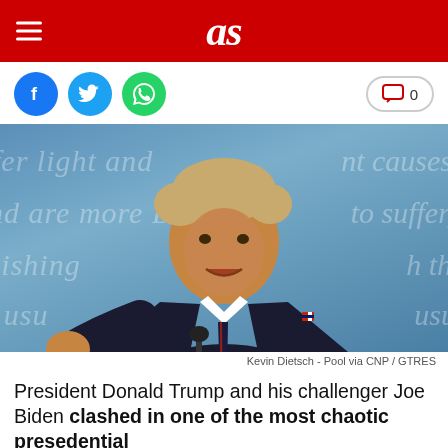as
[Figure (photo): Donald Trump speaking at a debate podium, pointing a finger, wearing a dark suit and striped tie, against a blue debate stage background with italic script text]
Kevin Dietsch - Pool via CNP / GTRES
President Donald Trump and his challenger Joe Biden clashed in one of the most chaotic presedential